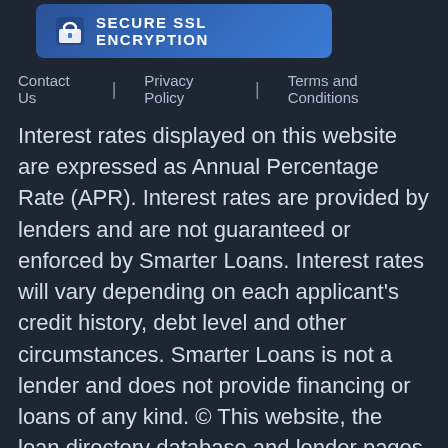[Figure (logo): Secure SSL Encryption badge with lock icon on blue gradient background]
Contact Us | Privacy Policy | Terms and Conditions
Interest rates displayed on this website are expressed as Annual Percentage Rate (APR). Interest rates are provided by lenders and are not guaranteed or enforced by Smarter Loans. Interest rates will vary depending on each applicant's credit history, debt level and other circumstances. Smarter Loans is not a lender and does not provide financing or loans of any kind. © This website, the loan directory database and lender pages are copyright-protected works, owned by Smarter Loans Inc. The contents of the website, database and pages are intended for the private, non-commercial use by individuals. Any commercial use, in whole or in part, directly or indirectly, is